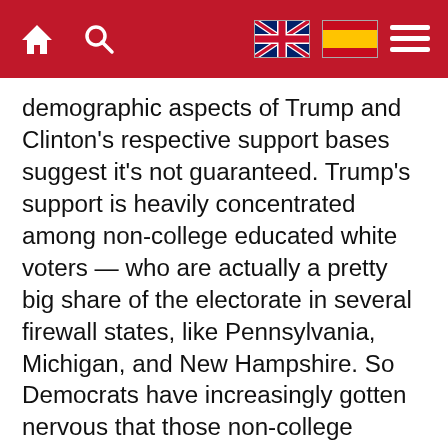Navigation bar with home, search, UK flag, Spain flag, and menu icons
demographic aspects of Trump and Clinton's respective support bases suggest it's not guaranteed. Trump's support is heavily concentrated among non-college educated white voters — who are actually a pretty big share of the electorate in several firewall states, like Pennsylvania, Michigan, and New Hampshire. So Democrats have increasingly gotten nervous that those non-college whites could turn out heavily in those states, particularly after reports of lower black voter turnout so far than 2012.
Florida, Nevada, and North Carolina, on the other hand, all have populations that are a third or more nonwhite. In the former two those nonwhite voters are mostly Hispanic,